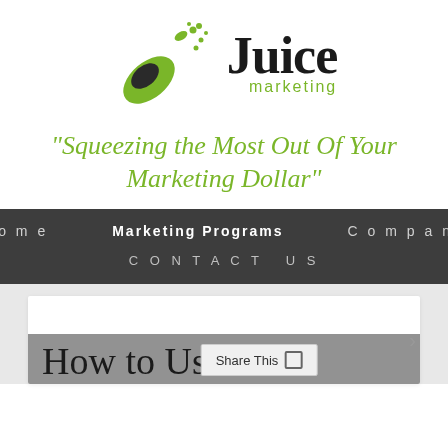[Figure (logo): Juice Marketing logo with green leaf/splash icon and company name]
"Squeezing the Most Out Of Your Marketing Dollar"
Home   Marketing Programs   Company   CONTACT US
How to Use a
Share This